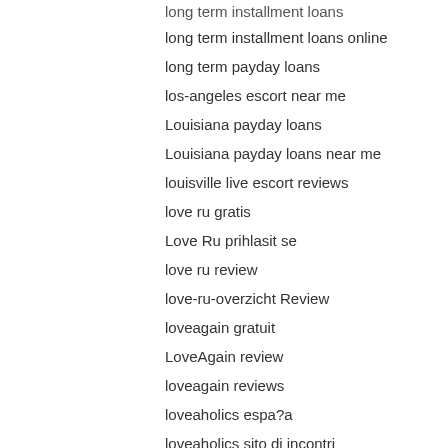long term installment loans online
long term payday loans
los-angeles escort near me
Louisiana payday loans
Louisiana payday loans near me
louisville live escort reviews
love ru gratis
Love Ru prihlasit se
love ru review
love-ru-overzicht Review
loveagain gratuit
LoveAgain review
loveagain reviews
loveaholics espa?a
loveaholics sito di incontri
Loveaholics Zaloguj si?
loveandseek gratuit
loveAndSeek...